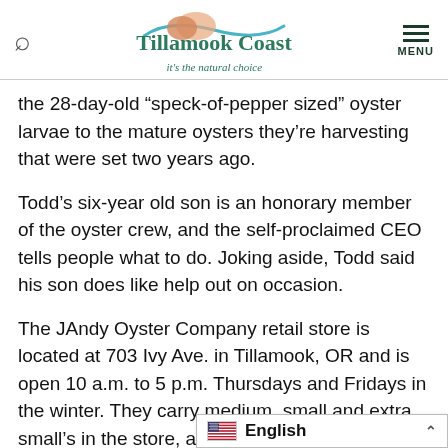Tillamook Coast — it's the natural choice
the 28-day-old “speck-of-pepper sized” oyster larvae to the mature oysters they’re harvesting that were set two years ago.
Todd’s six-year old son is an honorary member of the oyster crew, and the self-proclaimed CEO tells people what to do. Joking aside, Todd said his son does like help out on occasion.
The JAndy Oyster Company retail store is located at 703 Ivy Ave. in Tillamook, OR and is open 10 a.m. to 5 p.m. Thursdays and Fridays in the winter. They carry medium, small and extra small’s in the store, and large or jumbos by pre-order. JAndy…